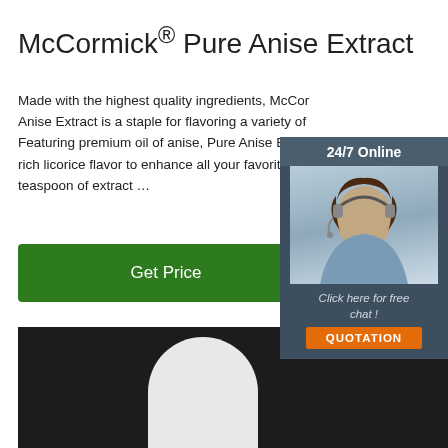McCormick® Pure Anise Extract
Made with the highest quality ingredients, McCormick Pure Anise Extract is a staple for flavoring a variety of Featuring premium oil of anise, Pure Anise Extract rich licorice flavor to enhance all your favorite recipes. teaspoon of extract …
[Figure (other): Green 'Get Price' button]
[Figure (photo): White capsule/teardrop shaped product against dark background with orange TOP logo watermark]
[Figure (other): 24/7 Online chat widget with woman wearing headset, 'Click here for free chat!' text and orange QUOTATION button]